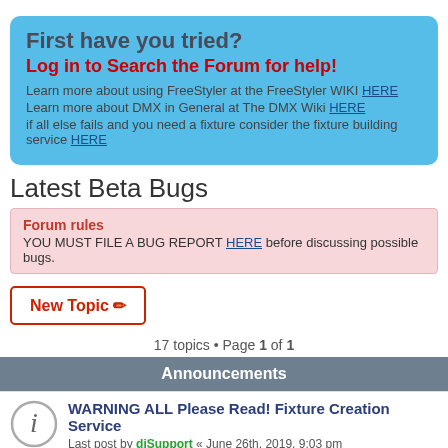First have you tried?
Log in to Search the Forum for help!
Learn more about using FreeStyler at the FreeStyler WIKI HERE
Learn more about DMX in General at The DMX Wiki HERE
if all else fails and you need a fixture consider the fixture building service HERE
Latest Beta Bugs
Forum rules
YOU MUST FILE A BUG REPORT HERE before discussing possible bugs.
New Topic
17 topics • Page 1 of 1
Announcements
WARNING ALL Please Read! Fixture Creation Service
Last post by djSupport « June 26th, 2019, 9:03 pm
Posted in FreeStyler Fixture Files - Help & Support
Replies: 1